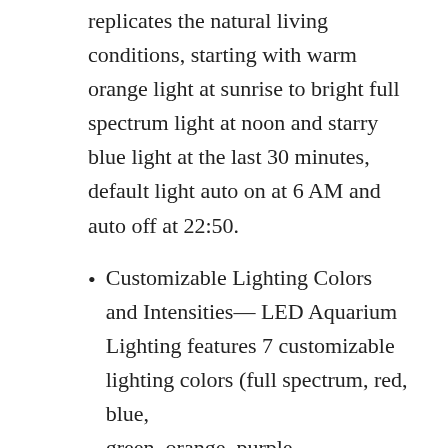replicates the natural living conditions, starting with warm orange light at sunrise to bright full spectrum light at noon and starry blue light at the last 30 minutes, default light auto on at 6 AM and auto off at 22:50.
Customizable Lighting Colors and Intensities— LED Aquarium Lighting features 7 customizable lighting colors (full spectrum, red, blue, green, orange, purple...